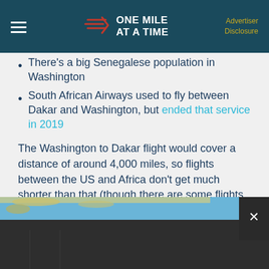ONE MILE AT A TIME | Advertiser Disclosure
There's a big Senegalese population in Washington
South African Airways used to fly between Dakar and Washington, but ended that service in 2019
The Washington to Dakar flight would cover a distance of around 4,000 miles, so flights between the US and Africa don't get much shorter than that (though there are some flights to Northern Africa that are even shorter).
[Figure (map): Partial map showing the Atlantic Ocean between the US east coast and West Africa, with a dark overlay at the bottom]